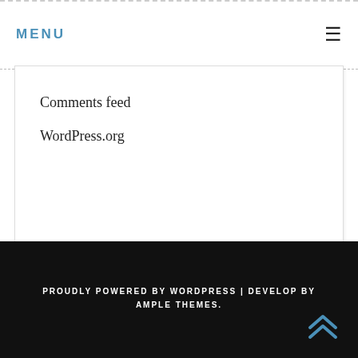MENU
Comments feed
WordPress.org
PROUDLY POWERED BY WORDPRESS | DEVELOP BY AMPLE THEMES.